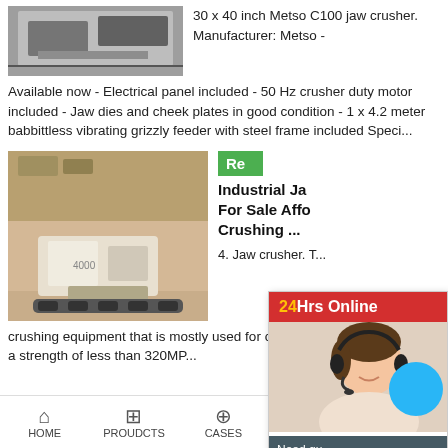[Figure (photo): Industrial machinery / conveyor or crusher equipment photo]
30 x 40 inch Metso C100 jaw crusher. Manufacturer: Metso - Available now - Electrical panel included - 50 Hz crusher duty motor included - Jaw dies and cheek plates in good condition - 1 x 4.2 meter babbittless vibrating grizzly feeder with steel frame included Speci...
[Figure (photo): Industrial jaw crusher machine at a quarry/mine site]
Re
Industrial Jaw Crusher For Sale Afforda Crushing ...
4. Jaw crusher. T... crushing equipment that is mostly used for crushing materials that have a strength of less than 320MP...
[Figure (photo): Customer service representative with headset - 24Hrs Online chat widget]
Need question & suggestion?
Chat Now
Enquiry
limingjlmofen
HOME   PROUDCTS   CASES   limingjlmofen